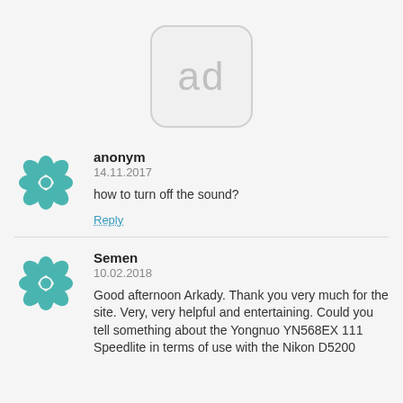[Figure (other): Ad placeholder box with rounded corners showing the text 'ad' in gray]
anonym
14.11.2017
how to turn off the sound?
Reply
Semen
10.02.2018
Good afternoon Arkady. Thank you very much for the site. Very, very helpful and entertaining. Could you tell something about the Yongnuo YN568EX 111 Speedlite in terms of use with the Nikon D5200